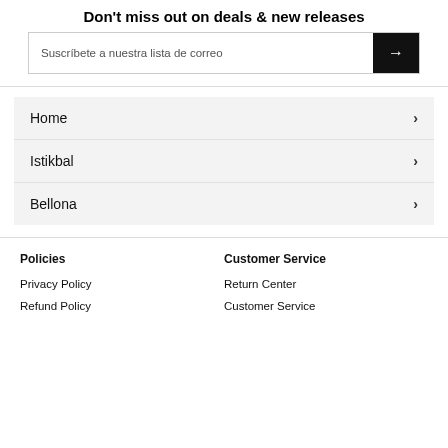Don't miss out on deals & new releases
Suscríbete a nuestra lista de correo
Home
Istikbal
Bellona
Policies
Customer Service
Privacy Policy
Refund Policy
Return Center
Customer Service